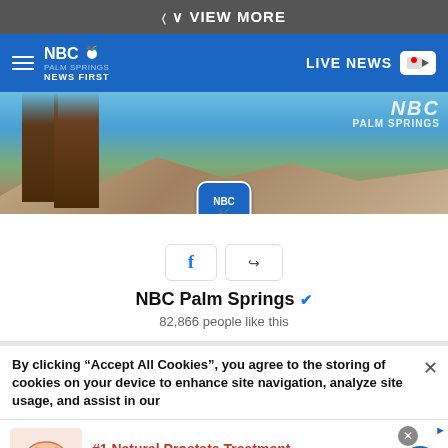VIEW MORE
[Figure (screenshot): NBC Palm Springs News First navigation bar with hamburger menu and LIVE NEWS button]
[Figure (screenshot): NBC Palm Springs Facebook page embed showing cover photo with palm trees and mountains, profile picture, Facebook and share buttons]
NBC Palm Springs
82,866 people like this
By clicking “Accept All Cookies”, you agree to the storing of cookies on your device to enhance site navigation, analyze site usage, and assist in our
[Figure (advertisement): #1 Natural Prostate Treatment ad from healthreport4u.com - Top Urologist: Enlarged Prostate? Do This Immediately!]